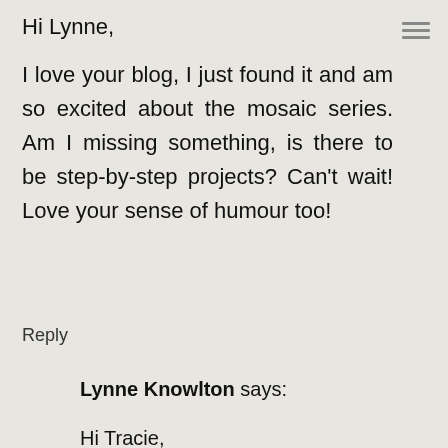Hi Lynne,

I love your blog, I just found it and am so excited about the mosaic series. Am I missing something, is there to be step-by-step projects? Can't wait! Love your sense of humour too!
Reply
Lynne Knowlton says:
Hi Tracie,